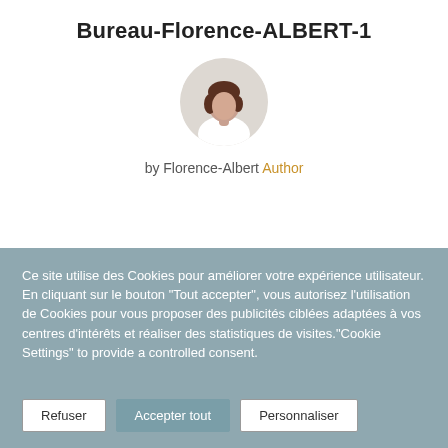Bureau-Florence-ALBERT-1
[Figure (photo): Circular avatar photo of Florence-Albert, a woman in a white top with short brown hair]
by Florence-Albert Author
Ce site utilise des Cookies pour améliorer votre expérience utilisateur. En cliquant sur le bouton "Tout accepter", vous autorisez l'utilisation de Cookies pour vous proposer des publicités ciblées adaptées à vos centres d'intérêts et réaliser des statistiques de visites."Cookie Settings" to provide a controlled consent.
Refuser | Accepter tout | Personnaliser